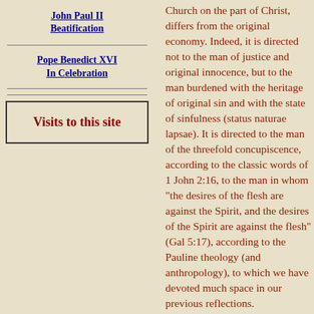John Paul II Beatification
Pope Benedict XVI In Celebration
Visits to this site
Church on the part of Christ, differs from the original economy. Indeed, it is directed not to the man of justice and original innocence, but to the man burdened with the heritage of original sin and with the state of sinfulness (status naturae lapsae). It is directed to the man of the threefold concupiscence, according to the classic words of 1 John 2:16, to the man in whom "the desires of the flesh are against the Spirit, and the desires of the Spirit are against the flesh" (Gal 5:17), according to the Pauline theology (and anthropology), to which we have devoted much space in our previous reflections.